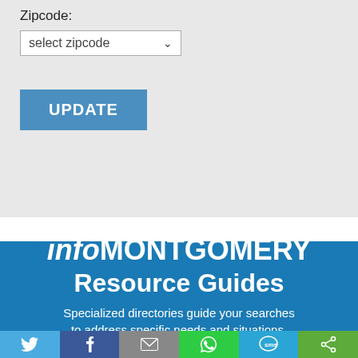Zipcode:
[Figure (screenshot): Select zipcode dropdown widget with text 'select zipcode' and a dropdown arrow]
[Figure (screenshot): UPDATE button - blue rectangular button with white uppercase text 'UPDATE']
infoMONTGOMERY Resource Guides
Specialized directories guide your searches to address specific needs and situations.
[Figure (infographic): Social sharing bar with six icons: Twitter (light blue), Facebook (dark blue), Email (gray), WhatsApp (green), SMS (blue), Share (green)]